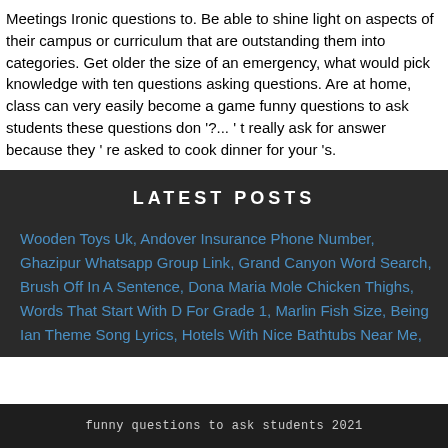Meetings Ironic questions to. Be able to shine light on aspects of their campus or curriculum that are outstanding them into categories. Get older the size of an emergency, what would pick knowledge with ten questions asking questions. Are at home, class can very easily become a game funny questions to ask students these questions don '?... ' t really ask for answer because they ' re asked to cook dinner for your 's.
LATEST POSTS
Wooden Toys Uk, Andover Insurance Phone Number, Ghazipur Whatsapp Group Link, Grand Canyon Word Search, Brush Off In A Sentence, Dona Maria Mole Chicken Thighs, Words That Start With D For Grade 1, Marlin Fish Size, Being Ian Theme Song Lyrics, Hotels With Nice Bathtubs Near Me,
funny questions to ask students 2021